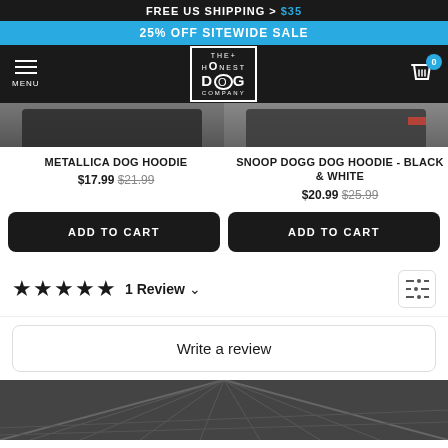FREE US SHIPPING > $35
25% OFF SITEWIDE SALE
[Figure (logo): The Honest Dog Company logo with menu icon and cart icon in black navigation bar]
[Figure (photo): Metallica Dog Hoodie product image (partial, dark hoodie)]
METALLICA DOG HOODIE
$17.99 $21.99
[Figure (photo): Snoop Dogg Dog Hoodie Black & White product image (partial, with red stripe)]
SNOOP DOGG DOG HOODIE - BLACK & WHITE
$20.99 $25.99
ADD TO CART
ADD TO CART
★★★★★ 1 Review ∨
Write a review
[Figure (photo): Photo of a bridge walkway/grate perspective view, cropped at bottom]